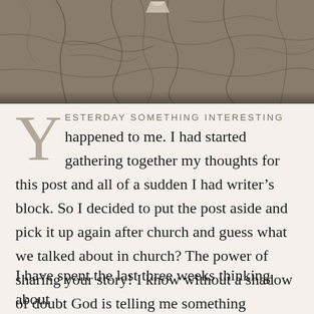[Figure (photo): Cracked dry ground texture, gray-brown earth with deep fissures, with what appears to be a small pale object at the top]
YESTERDAY SOMETHING INTERESTING happened to me. I had started gathering together my thoughts for this post and all of a sudden I had writer's block. So I decided to put the post aside and pick it up again after church and guess what we talked about in church? The power of sharing your story! I know without a shadow of doubt God is telling me something important and so here goes.
I have spent the last three weeks thinking about